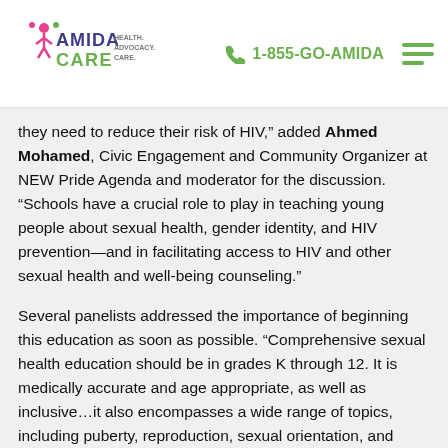Amida Care | 1-855-GO-AMIDA
they need to reduce their risk of HIV,” added Ahmed Mohamed, Civic Engagement and Community Organizer at NEW Pride Agenda and moderator for the discussion. “Schools have a crucial role to play in teaching young people about sexual health, gender identity, and HIV prevention—and in facilitating access to HIV and other sexual health and well-being counseling.”
Several panelists addressed the importance of beginning this education as soon as possible. “Comprehensive sexual health education should be in grades K through 12. It is medically accurate and age appropriate, as well as inclusive…it also encompasses a wide range of topics, including puberty, reproduction, sexual orientation, and gender identity,” said Aliyah Ansari, Teen Health Strategist for the New York Civil Liberties Union. “Comprehensive sexual health education is